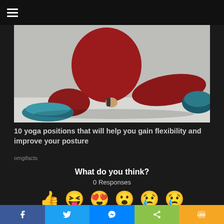Navigation menu
[Figure (photo): Person in red leggings and teal sneakers doing a deep lunge stretch on a light grey background.]
10 yoga positions that will help you gain flexibility and improve your posture
omgifacts
What do you think?
0 Responses
[Figure (infographic): Row of six reaction emojis: thumbs up, laughing face with tongue, heart eyes face, surprised/shocked face, crying face, sad face with tear.]
Social share bar: Facebook, Twitter, Messenger, Share, Line